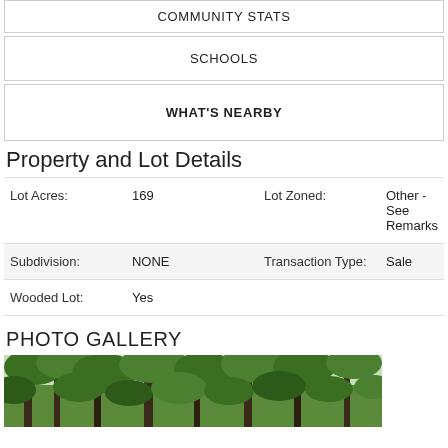COMMUNITY STATS
SCHOOLS
WHAT'S NEARBY
Property and Lot Details
| Lot Acres: | 169 | Lot Zoned: | Other - See Remarks |
| Subdivision: | NONE | Transaction Type: | Sale |
| Wooded Lot: | Yes |  |  |
PHOTO GALLERY
[Figure (photo): Forest/wooded lot photo showing green tree canopy from below]